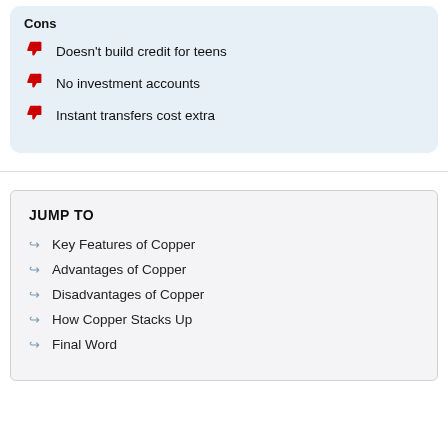Cons
Doesn't build credit for teens
No investment accounts
Instant transfers cost extra
JUMP TO
Key Features of Copper
Advantages of Copper
Disadvantages of Copper
How Copper Stacks Up
Final Word